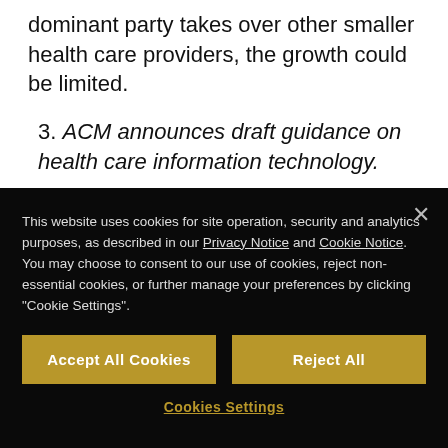dominant party takes over other smaller health care providers, the growth could be limited.
3. ACM announces draft guidance on health care information technology.
[Figure (screenshot): Cookie consent modal overlay on a dark background, containing text about cookie usage with links to Privacy Notice and Cookie Notice, two gold buttons labeled 'Accept All Cookies' and 'Reject All', and a 'Cookies Settings' link below.]
agreements). Currently, hospitals are dependent on